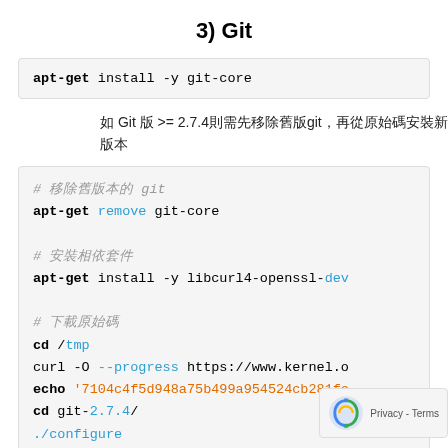3) Git
apt-get install -y git-core
如 Git 版 >= 2.7.4則需先移除舊版git，再從原始碼安裝新版本
# 移除舊版本的 git
apt-get remove git-core

# 安裝相依套件
apt-get install -y libcurl4-openssl-dev

# 下載原始碼
cd /tmp
curl -O --progress https://www.kernel.o
echo '7104c4f5d948a75b499a954524cb281fe
cd git-2.7.4/
./configure
make prefix=/usr/local all